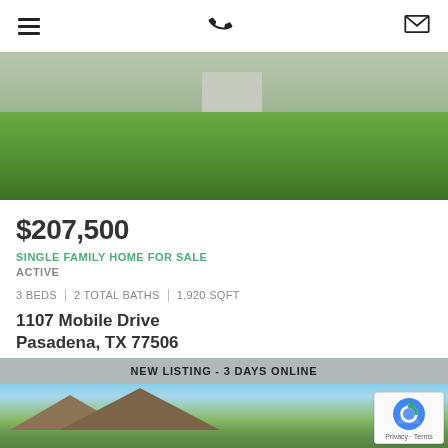Navigation header with menu, phone, and mail icons
[Figure (photo): Exterior photo of a house with green lawn in foreground and siding/steps visible]
$207,500
SINGLE FAMILY HOME FOR SALE
ACTIVE
3 BEDS | 2 TOTAL BATHS | 1,920 SQFT
1107 Mobile Drive
Pasadena, TX 77506
Sunset Terrace Sec 01 Subdivision
NEW LISTING - 3 DAYS ONLINE
[Figure (photo): Exterior photo of another house with blue sky and trees in background]